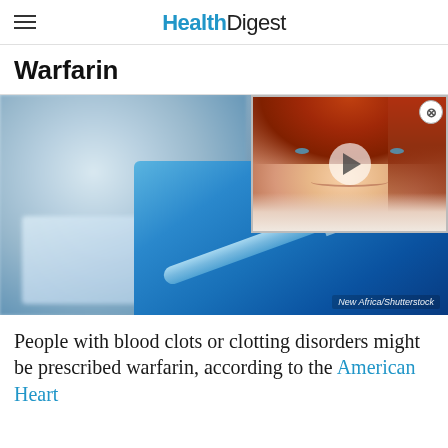Health Digest
Warfarin
[Figure (photo): Medical professional wearing blue surgical cap and face mask with blue gloves handling a syringe and medical vial. Photo credit: New Africa/Shutterstock]
[Figure (photo): Video thumbnail overlay showing a smiling red-haired woman with a play button, positioned in the top right of the main image]
People with blood clots or clotting disorders might be prescribed warfarin, according to the American Heart